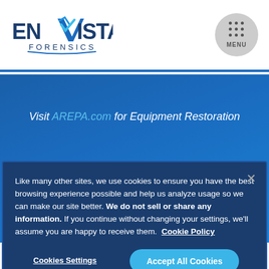[Figure (logo): Envista Forensics logo — blue stylized 'V' with checkmark, bold dark blue text 'ENVISTA' and smaller text 'FORENSICS' with curved underline]
[Figure (other): Menu button — circular grey button with 3x3 dot grid and 'MENU' text below]
Visit AREPA.com for Equipment Restoration
Get More From Envista
Like many other sites, we use cookies to ensure you have the best browsing experience possible and help us analyze usage so we can make our site better. We do not sell or share any information. If you continue without changing your settings, we'll assume you are happy to receive them. Cookie Policy
Cookies Settings
Accept All Cookies